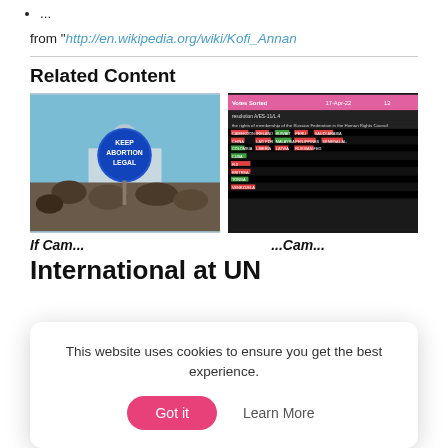...
from "http://en.wikipedia.org/wiki/Kofi_Annan
Related Content
[Figure (photo): Protest photo showing people holding a sign reading 'KEEP ABORTION LEGAL' with the US Capitol building in the background]
[Figure (screenshot): Screenshot of a voting record table with pink header, showing voting membership data of the Russian Federation in the Human Rights Council, with colored cells indicating votes]
International at UN